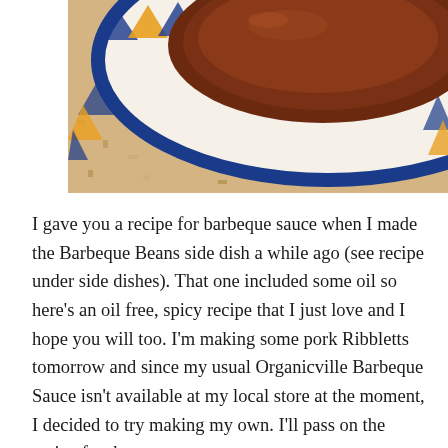[Figure (photo): Close-up photo of a decorative ceramic bowl with blue and white geometric pattern rimmed in cobalt blue, containing what appears to be a dark reddish-brown sauce or food, placed on a light beige stone or terrazzo surface.]
I gave you a recipe for barbeque sauce when I made the Barbeque Beans side dish a while ago (see recipe under side dishes). That one included some oil so here's an oil free, spicy recipe that I just love and I hope you will too. I'm making some pork Ribbletts tomorrow and since my usual Organicville Barbeque Sauce isn't available at my local store at the moment, I decided to try making my own. I'll pass on the recipe for the